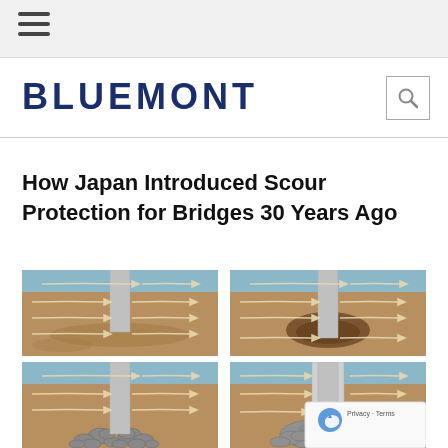BLUEMONT
How Japan Introduced Scour Protection for Bridges 30 Years Ago
[Figure (illustration): Four-panel engineering illustration showing progressive scour erosion around a bridge pier (pile). Top-left: undisturbed riverbed with water flow lines and vertical pile. Top-right: scour hole forming around pile base. Bottom-left: scour protection stones placed around pile base. Bottom-right: completed scour protection (rock armor/riprap) around pile with flow lines.]